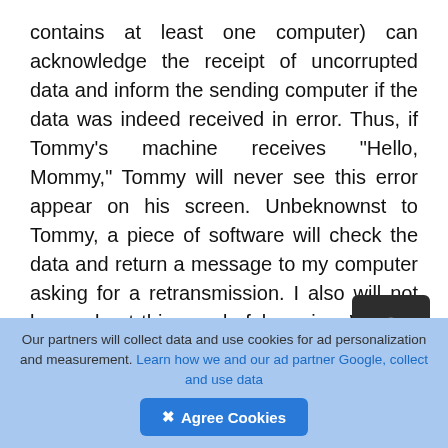contains at least one computer) can acknowledge the receipt of uncorrupted data and inform the sending computer if the data was indeed received in error. Thus, if Tommy's machine receives "Hello, Mommy," Tommy will never see this error appear on his screen. Unbeknownst to Tommy, a piece of software will check the data and return a message to my computer asking for a retransmission. I also will not know about this wonderful service. What is more, because all these dialogues are taking place so quickly (in a few fractions of a second), Tommy and I are unaware of the short delay in our online dialogue.
. Computers on a network must be capable of
Our partners will collect data and use cookies for ad personalization and measurement. Learn how we and our ad partner Google, collect and use data